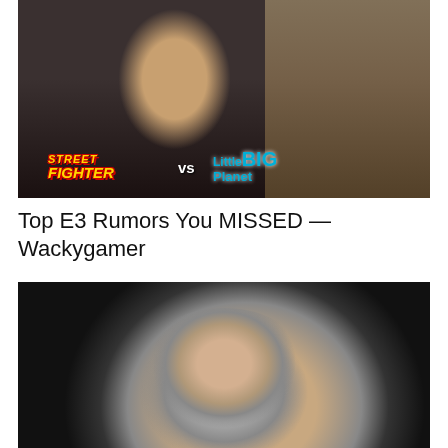[Figure (photo): Video thumbnail showing a bearded man speaking into a microphone with Street Fighter vs LittleBigPlanet logos overlaid, shelving with games/movies in background]
Top E3 Rumors You MISSED — Wackygamer
[Figure (photo): Video thumbnail showing a young girl in a space suit/astronaut helmet against a dark background]